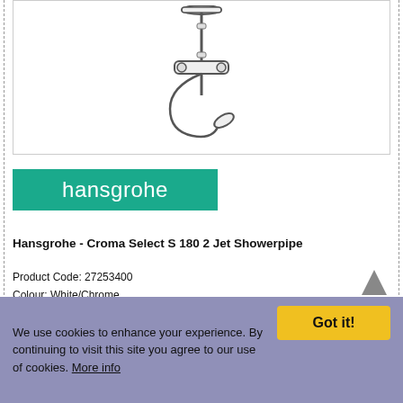[Figure (illustration): Line drawing of Hansgrohe Croma Select S 180 2 Jet Showerpipe showing a thermostatic bar mixer with overhead shower rail, shower head, and hand shower with hose]
[Figure (logo): Hansgrohe brand logo — white lowercase text 'hansgrohe' on teal/green rectangle background]
Hansgrohe - Croma Select S 180 2 Jet Showerpipe
Product Code: 27253400
Colour: White/Chrome
W: 360mm D: 1100mm H: 120mm
We use cookies to enhance your experience. By continuing to visit this site you agree to our use of cookies. More info